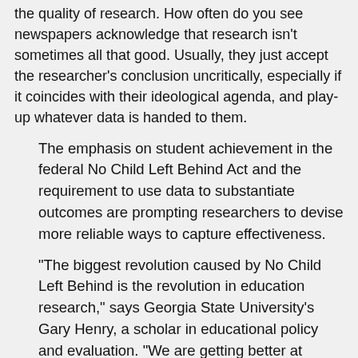the quality of research. How often do you see newspapers acknowledge that research isn't sometimes all that good. Usually, they just accept the researcher's conclusion uncritically, especially if it coincides with their ideological agenda, and play-up whatever data is handed to them.
The emphasis on student achievement in the federal No Child Left Behind Act and the requirement to use data to substantiate outcomes are prompting researchers to devise more reliable ways to capture effectiveness.
"The biggest revolution caused by No Child Left Behind is the revolution in education research," says Georgia State University's Gary Henry, a scholar in educational policy and evaluation. "We are getting better at figuring out what works. But what we are seeing is almost nothing that has a very large effect."
Even when the research shows a gain, it's a very small gain produced under the best of circumstances. That's because most reforms